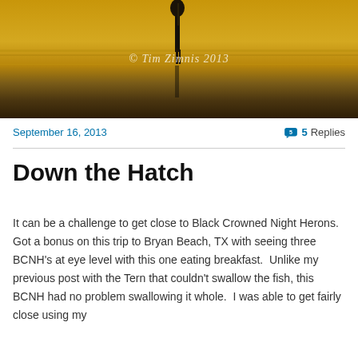[Figure (photo): Close-up nature photo of a Black Crowned Night Heron standing in water with golden/amber colored water reflection. Watermark reads '© Tim Zimnis 2013' in white italic script.]
September 16, 2013
5 Replies
Down the Hatch
It can be a challenge to get close to Black Crowned Night Herons.  Got a bonus on this trip to Bryan Beach, TX with seeing three BCNH's at eye level with this one eating breakfast.  Unlike my previous post with the Tern that couldn't swallow the fish, this BCNH had no problem swallowing it whole.  I was able to get fairly close using my